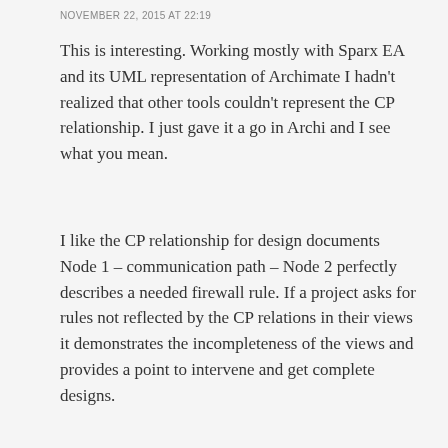NOVEMBER 22, 2015 AT 22:19
This is interesting. Working mostly with Sparx EA and its UML representation of Archimate I hadn't realized that other tools couldn't represent the CP relationship. I just gave it a go in Archi and I see what you mean.
I like the CP relationship for design documents Node 1 – communication path – Node 2 perfectly describes a needed firewall rule. If a project asks for rules not reflected by the CP relations in their views it demonstrates the incompleteness of the views and provides a point to intervene and get complete designs.